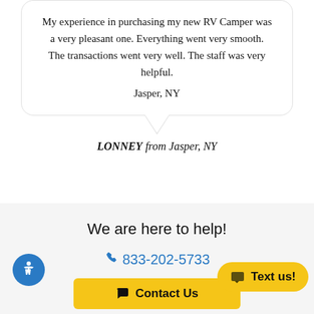My experience in purchasing my new RV Camper was a very pleasant one. Everything went very smooth. The transactions went very well. The staff was very helpful.
Jasper, NY
LONNEY from Jasper, NY
We are here to help!
833-202-5733
Contact Us
Text us!